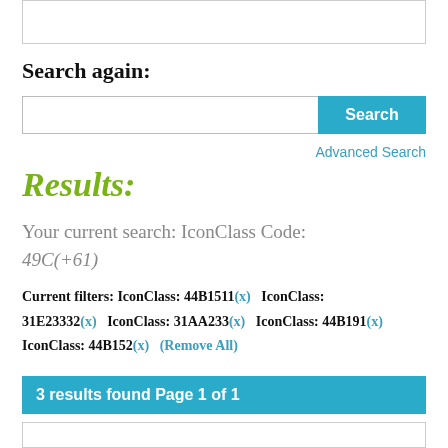Search again:
[Figure (screenshot): Search input box with a cyan 'Search' button on the right]
Advanced Search
Results:
Your current search: IconClass Code: 49C(+61)
Current filters: IconClass: 44B1511(x)   IconClass: 31E23332(x)   IconClass: 31AA233(x)   IconClass: 44B191(x)   IconClass: 44B152(x)   (Remove All)
3 results found Page 1 of 1